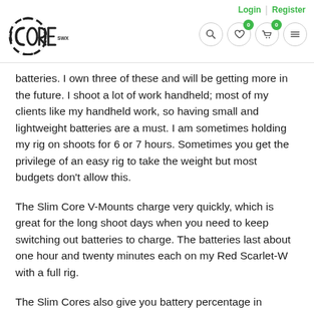Login | Register — Core SWX navigation header with logo, search, wishlist, cart, menu icons
batteries. I own three of these and will be getting more in the future. I shoot a lot of work handheld; most of my clients like my handheld work, so having small and lightweight batteries are a must. I am sometimes holding my rig on shoots for 6 or 7 hours. Sometimes you get the privilege of an easy rig to take the weight but most budgets don't allow this.
The Slim Core V-Mounts charge very quickly, which is great for the long shoot days when you need to keep switching out batteries to charge. The batteries last about one hour and twenty minutes each on my Red Scarlet-W with a full rig.
The Slim Cores also give you battery percentage in camera, which is amazing. Before the battery is empty it gives you a 30